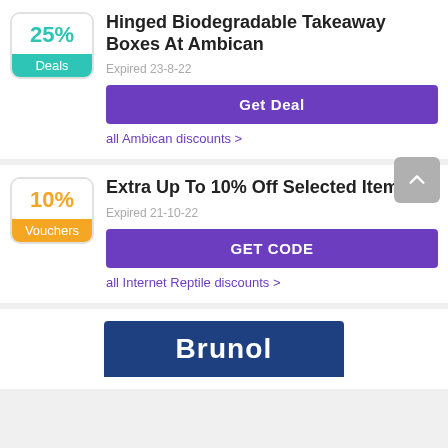[Figure (other): Deal badge with 25% in teal and Deals label]
Hinged Biodegradable Takeaway Boxes At Ambican
Expired 23-8-22
Get Deal
all Ambican discounts >
[Figure (other): Voucher badge with 10% in orange and Vouchers label]
Extra Up To 10% Off Selected Items
Expired 21-10-22
GET CODE
all Internet Reptile discounts >
[Figure (other): Brunol banner in dark blue at bottom]